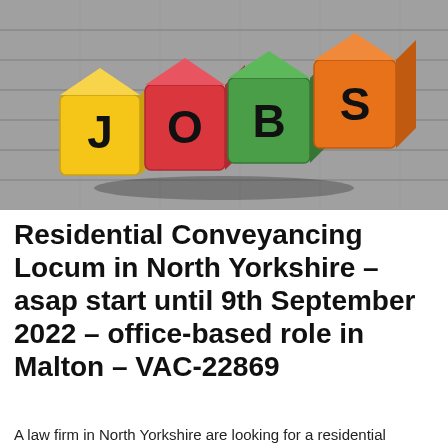[Figure (photo): Photo of four colorful wooden alphabet blocks spelling JOBS — yellow (J), red (O), green (B), orange (S) — arranged on a grey wooden surface.]
Residential Conveyancing Locum in North Yorkshire – asap start until 9th September 2022 – office-based role in Malton – VAC-22869
A law firm in North Yorkshire are looking for a residential